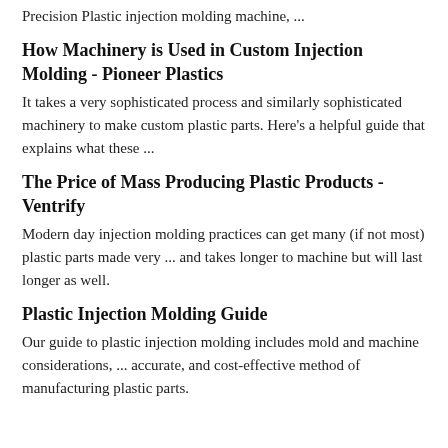Precision Plastic injection molding machine, ...
How Machinery is Used in Custom Injection Molding - Pioneer Plastics
It takes a very sophisticated process and similarly sophisticated machinery to make custom plastic parts. Here's a helpful guide that explains what these ...
The Price of Mass Producing Plastic Products - Ventrify
Modern day injection molding practices can get many (if not most) plastic parts made very ... and takes longer to machine but will last longer as well.
Plastic Injection Molding Guide
Our guide to plastic injection molding includes mold and machine considerations, ... accurate, and cost-effective method of manufacturing plastic parts.